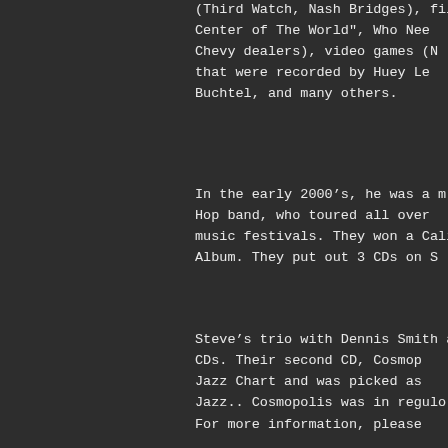(Third Watch, Nash Bridges), fil Center of The World", Who Nee Chevy dealers), video games (N that were recorded by Huey Le Buchtel, and many others.
In the early 2000's, he was a m Hop band, who toured all over music festivals. They won a Cali Album. They put out 3 CDs on S
Steve's trio with Dennis Smith a CDs. Their second CD, Cosmop Jazz Chart and was picked as Jazz.. Cosmopolis was in regulo
For more information, please